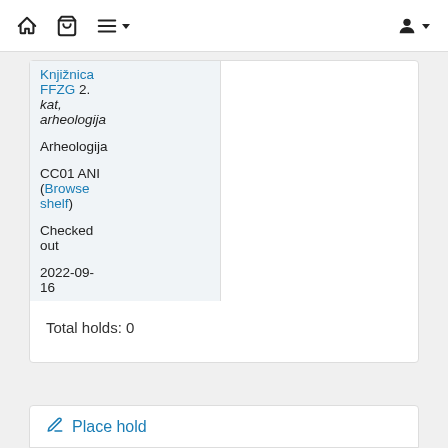Navigation bar with home, cart, list, and user icons
| Knjižnica FFZG 2. kat, arheologija |  |
| Arheologija |  |
| CC01 ANI (Browse shelf) |  |
| Checked out |  |
| 2022-09-16 |  |
Total holds: 0
Place hold